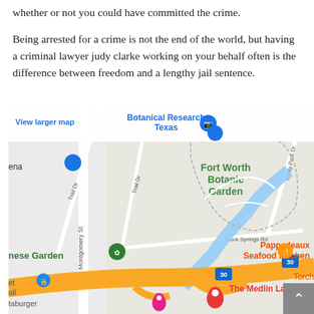whether or not you could have committed the crime.
Being arrested for a crime is not the end of the world, but having a criminal lawyer judy clarke working on your behalf often is the difference between freedom and a lengthy jail sentence.
[Figure (map): Google Maps screenshot showing Fort Worth Botanic Garden area with The Medlin Law Firm pin marker on a highway (I-30), also showing Pappadeaux Seafood Kitchen, Japanese Garden, and other landmarks.]